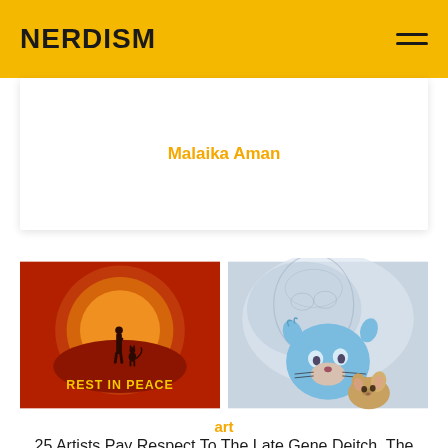NERDISM
Malaika Aman
[Figure (illustration): REST IN PEACE tribute image: silhouette of a man and a cat standing in front of a large orange/red circular sun on a red background, with the text REST IN PEACE in yellow stylized letters at the bottom]
[Figure (illustration): Watercolor-style painting of Tom and Jerry cartoon characters (cat hugging mouse) with a faint sketch of an elderly man's face in the background]
art
25 Artists Pay Respect To The Late Gene Deitch, The